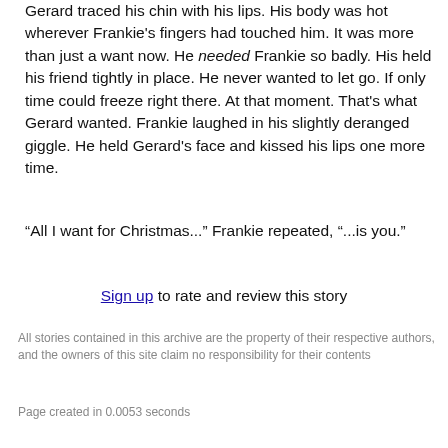Gerard traced his chin with his lips. His body was hot wherever Frankie’s fingers had touched him. It was more than just a want now. He needed Frankie so badly. His held his friend tightly in place. He never wanted to let go. If only time could freeze right there. At that moment. That’s what Gerard wanted. Frankie laughed in his slightly deranged giggle. He held Gerard’s face and kissed his lips one more time.
“All I want for Christmas...” Frankie repeated, “...is you.”
Sign up to rate and review this story
All stories contained in this archive are the property of their respective authors, and the owners of this site claim no responsibility for their contents
Page created in 0.0053 seconds